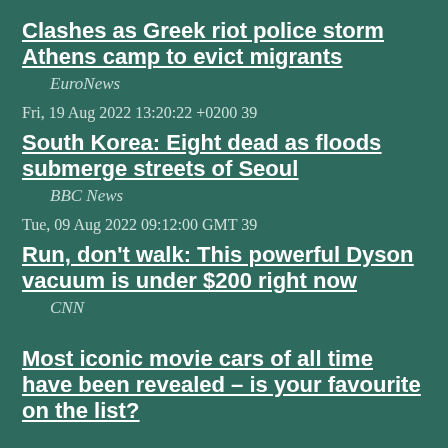Clashes as Greek riot police storm Athens camp to evict migrants
EuroNews
Fri, 19 Aug 2022 13:20:22 +0200 39
South Korea: Eight dead as floods submerge streets of Seoul
BBC News
Tue, 09 Aug 2022 09:12:00 GMT 39
Run, don't walk: This powerful Dyson vacuum is under $200 right now
CNN
Most iconic movie cars of all time have been revealed – is your favourite on the list?